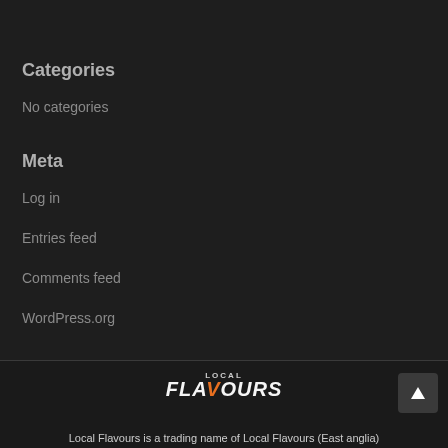Categories
No categories
Meta
Log in
Entries feed
Comments feed
WordPress.org
Local Flavours is a trading name of Local Flavours (East anglia)